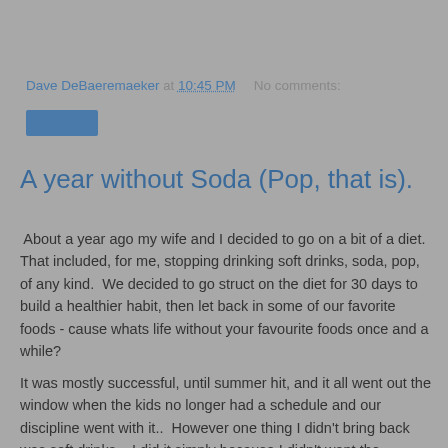Dave DeBaeremaeker at 10:45 PM   No comments:
[Figure (other): Blue button/label element]
A year without Soda (Pop, that is).
About a year ago my wife and I decided to go on a bit of a diet.  That included, for me, stopping drinking soft drinks, soda, pop, of any kind.  We decided to go struct on the diet for 30 days to build a healthier habit, then let back in some of our favorite foods - cause whats life without your favourite foods once and a while?
It was mostly successful, until summer hit, and it all went out the window when the kids no longer had a schedule and our discipline went with it..  However one thing I didn't bring back was soft drinks.   I did it simply because I didn't want the